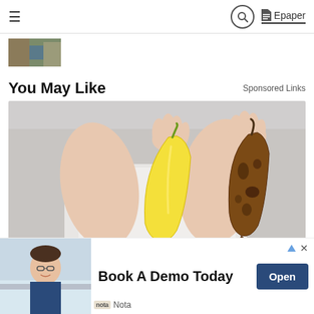≡  🔍  Epaper
[Figure (photo): Small thumbnail image of an outdoor/nature scene]
You May Like
Sponsored Links
[Figure (photo): Person holding two bananas - one yellow/fresh and one brown/overripe]
Know What Will Happen to Your Body
[Figure (photo): Advertisement banner: Book A Demo Today with Nota logo, Open button]
Book A Demo Today
Nota